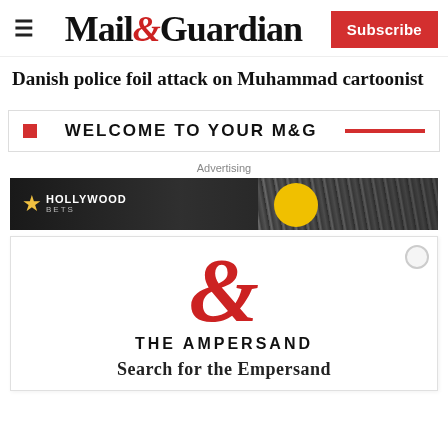Mail&Guardian | Subscribe
Danish police foil attack on Muhammad cartoonist
WELCOME TO YOUR M&G
Advertising
[Figure (photo): Hollywood Bets advertisement banner with crowd in background and yellow circle logo]
[Figure (logo): The Ampersand publication logo — large red ampersand symbol with THE AMPERSAND text]